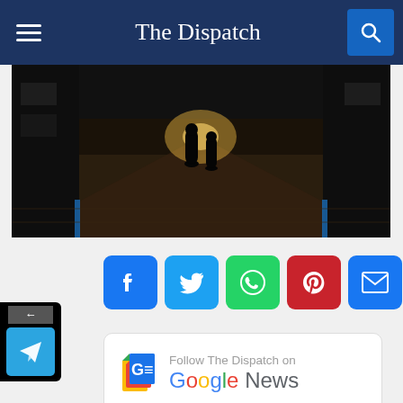The Dispatch
[Figure (photo): Dark silhouette photo of people walking through an airport corridor with shops on either side and a bright light at the end of the hall]
[Figure (infographic): Social media share buttons: Facebook, Twitter, WhatsApp, Pinterest, Email, and a plus/more button]
[Figure (infographic): Follow The Dispatch on Google News promotional card with Google News logo]
DUBAI: The United Arab Emirates said on Saturday it was cancelling lenient